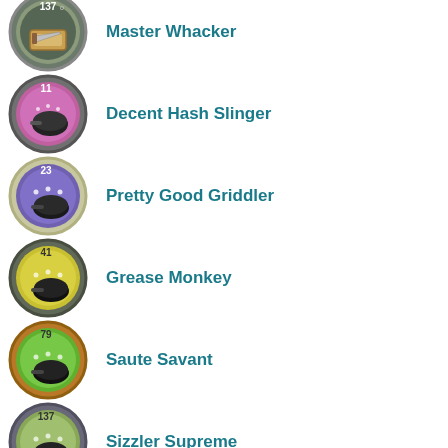Master Whacker
Decent Hash Slinger
Pretty Good Griddler
Grease Monkey
Saute Savant
Sizzler Supreme
Butterfly Whisperer